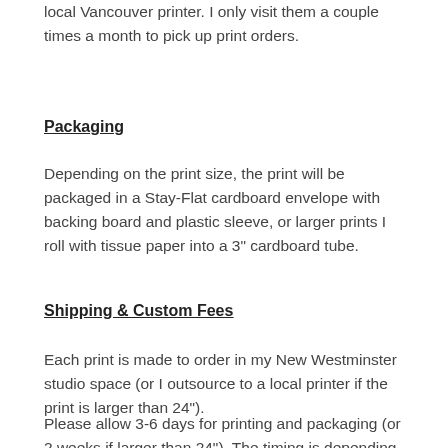local Vancouver printer. I only visit them a couple times a month to pick up print orders.
Packaging
Depending on the print size, the print will be packaged in a Stay-Flat cardboard envelope with backing board and plastic sleeve, or larger prints I roll with tissue paper into a 3" cardboard tube.
Shipping & Custom Fees
Each print is made to order in my New Westminster studio space (or I outsource to a local printer if the print is larger than 24").
Please allow 3-6 days for printing and packaging (or 2 weeks if larger than 24"). The timing is depending on my painting business capacity. And then allow 1 week for shipping. Please be